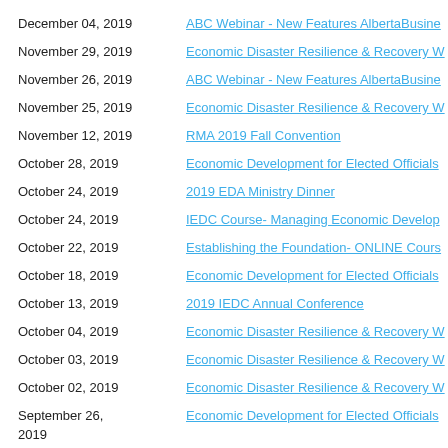December 04, 2019 | ABC Webinar - New Features AlbertaBusine...
November 29, 2019 | Economic Disaster Resilience & Recovery W...
November 26, 2019 | ABC Webinar - New Features AlbertaBusine...
November 25, 2019 | Economic Disaster Resilience & Recovery W...
November 12, 2019 | RMA 2019 Fall Convention
October 28, 2019 | Economic Development for Elected Officials...
October 24, 2019 | 2019 EDA Ministry Dinner
October 24, 2019 | IEDC Course- Managing Economic Develop...
October 22, 2019 | Establishing the Foundation- ONLINE Cours...
October 18, 2019 | Economic Development for Elected Officials...
October 13, 2019 | 2019 IEDC Annual Conference
October 04, 2019 | Economic Disaster Resilience & Recovery W...
October 03, 2019 | Economic Disaster Resilience & Recovery W...
October 02, 2019 | Economic Disaster Resilience & Recovery W...
September 26, 2019 | Economic Development for Elected Officials...
September 25, 2019 | AUMA 2019 Annual Convention & AMSC Tra...